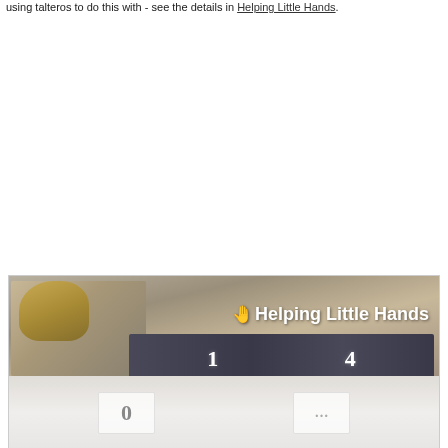using talteros to do this with - see the details in Helping Little Hands.
[Figure (photo): Photo of a young girl sitting on a carpeted floor looking at dark fabric number cards. The image has a banner overlay with white text reading 'Helping Little Hands' with a hand icon. The top portion shows the child with number tiles (1 and 4 visible on dark fabric). The bottom portion is a faded continuation of the scene showing additional number cards including 0.]